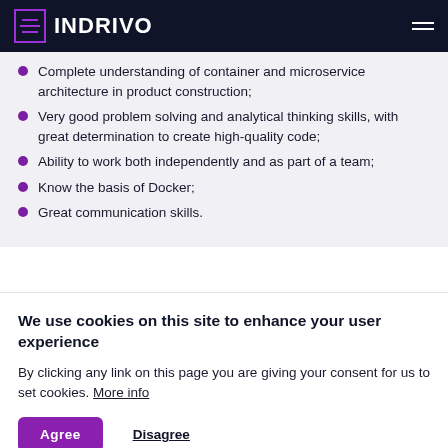INDRIVO
Complete understanding of container and microservice architecture in product construction;
Very good problem solving and analytical thinking skills, with great determination to create high-quality code;
Ability to work both independently and as part of a team;
Know the basis of Docker;
Great communication skills.
We use cookies on this site to enhance your user experience
By clicking any link on this page you are giving your consent for us to set cookies. More info